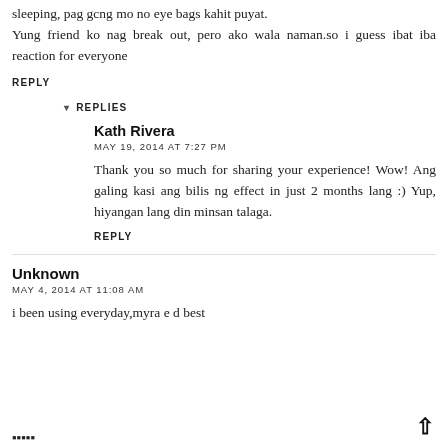sleeping, pag gcng mo no eye bags kahit puyat. Yung friend ko nag break out, pero ako wala naman.so i guess ibat iba reaction for everyone
REPLY
▾ REPLIES
Kath Rivera
MAY 19, 2014 AT 7:27 PM
Thank you so much for sharing your experience! Wow! Ang galing kasi ang bilis ng effect in just 2 months lang :) Yup, hiyangan lang din minsan talaga.
REPLY
Unknown
MAY 4, 2014 AT 11:08 AM
i been using everyday,myra e d best